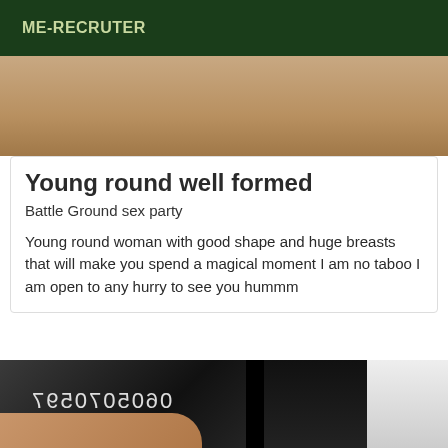ME-RECRUTER
[Figure (photo): Close-up photo showing skin tones, upper portion of page]
Young round well formed
Battle Ground sex party
Young round woman with good shape and huge breasts that will make you spend a magical moment I am no taboo I am open to any hurry to see you hummm
[Figure (photo): Photo showing dark hair and partial face with mirrored phone number text '0605070597']